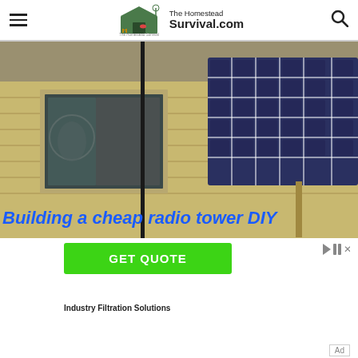The Homestead Survival.com
[Figure (photo): Photo of a building exterior with a solar panel on the right side, a window with dark curtains, a tall antenna pole, yellow wooden siding, and a parked truck on the left. Overlay text reads: Building a cheap radio tower DIY]
[Figure (screenshot): Advertisement with green GET QUOTE button and ad control icons (play/close). Text below: Industry Filtration Solutions]
Industry Filtration Solutions
Ad